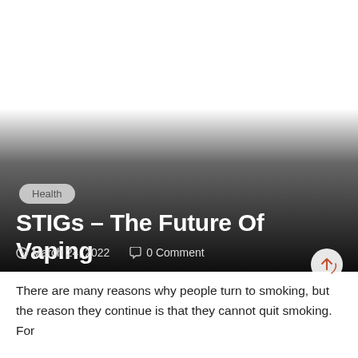[Figure (photo): Hero image area with dark gradient overlay for article header]
Health
STIGs – The Future Of Vaping
March 24, 2022   0 Comment
There are many reasons why people turn to smoking, but the reason they continue is that they cannot quit smoking. For